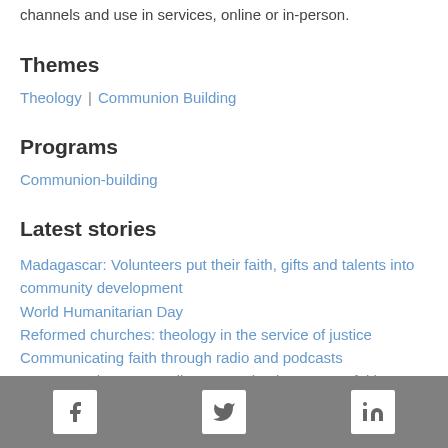channels and use in services, online or in-person.
Themes
Theology | Communion Building
Programs
Communion-building
Latest stories
Madagascar: Volunteers put their faith, gifts and talents into community development
World Humanitarian Day
Reformed churches: theology in the service of justice
Communicating faith through radio and podcasts
Porvoo: Lutherans, Anglicans growing in common faith
Colombia: "God shows no favoritism among people"
Facebook | Twitter | LinkedIn